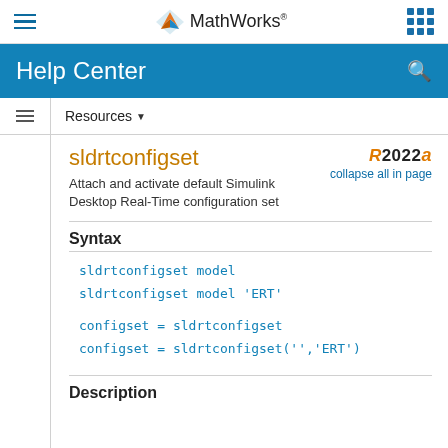MathWorks Help Center
sldrtconfigset
Attach and activate default Simulink Desktop Real-Time configuration set
R2022a collapse all in page
Syntax
sldrtconfigset model
sldrtconfigset model 'ERT'

configset = sldrtconfigset
configset = sldrtconfigset('','ERT')
Description